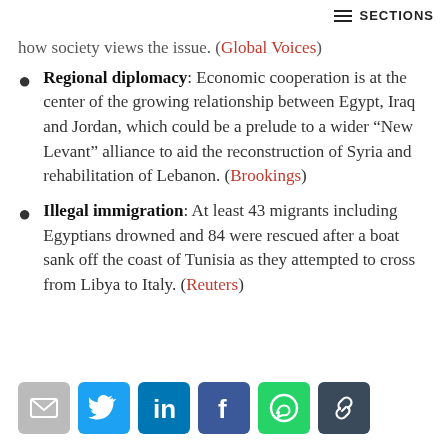SECTIONS
how society views the issue. (Global Voices)
Regional diplomacy: Economic cooperation is at the center of the growing relationship between Egypt, Iraq and Jordan, which could be a prelude to a wider “New Levant” alliance to aid the reconstruction of Syria and rehabilitation of Lebanon. (Brookings)
Illegal immigration: At least 43 migrants including Egyptians drowned and 84 were rescued after a boat sank off the coast of Tunisia as they attempted to cross from Libya to Italy. (Reuters)